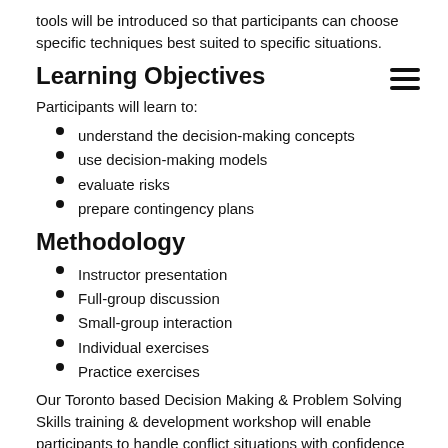tools will be introduced so that participants can choose specific techniques best suited to specific situations.
Learning Objectives
Participants will learn to:
understand the decision-making concepts
use decision-making models
evaluate risks
prepare contingency plans
Methodology
Instructor presentation
Full-group discussion
Small-group interaction
Individual exercises
Practice exercises
Our Toronto based Decision Making & Problem Solving Skills training & development workshop will enable participants to handle conflict situations with confidence